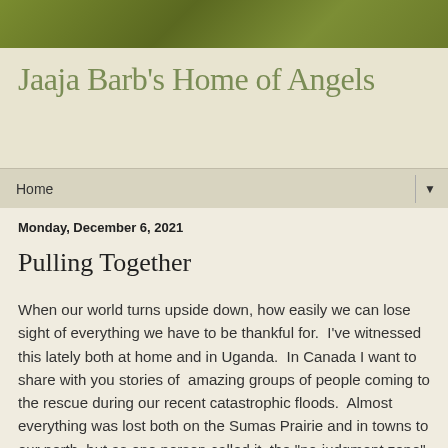Jaaja Barb's Home of Angels
Home
Monday, December 6, 2021
Pulling Together
When our world turns upside down, how easily we can lose sight of everything we have to be thankful for.  I've witnessed this lately both at home and in Uganda.  In Canada I want to share with you stories of  amazing groups of people coming to the rescue during our recent catastrophic floods.  Almost everything was lost both on the Sumas Prairie and in towns to our north, but as one person called it, the "no-judgment zone" we witnessed strangers reaching out to help each other.  It really brought a tear to my eye when I heard that volunteers at the Sikh temple had cooked 3,000 meals for